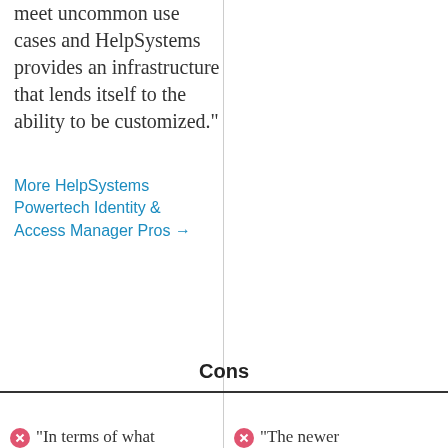meet uncommon use cases and HelpSystems provides an infrastructure that lends itself to the ability to be customized."
More HelpSystems Powertech Identity & Access Manager Pros →
Cons
"In terms of what
"The newer